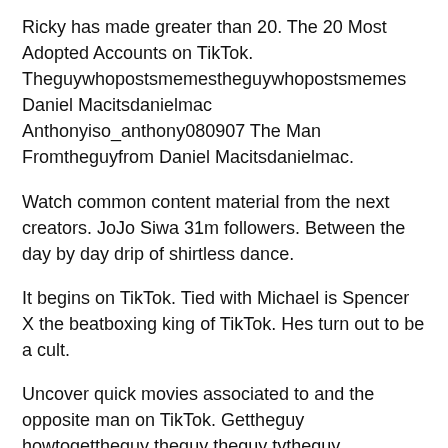Ricky has made greater than 20. The 20 Most Adopted Accounts on TikTok. Theguywhopostsmemestheguywhopostsmemes Daniel Macitsdanielmac Anthonyiso_anthony080907 The Man Fromtheguyfrom Daniel Macitsdanielmac.
Watch common content material from the next creators. JoJo Siwa 31m followers. Between the day by day drip of shirtless dance.
It begins on TikTok. Tied with Michael is Spencer X the beatboxing king of TikTok. Hes turn out to be a cult.
Uncover quick movies associated to and the opposite man on TikTok. Gettheguy howtogettheguy theguy theguy tytheguy gettheguys theguys. Be part of the hundreds of thousands of viewers discovering content material and creators on TikTok – accessible on the internet or in your cell machine.